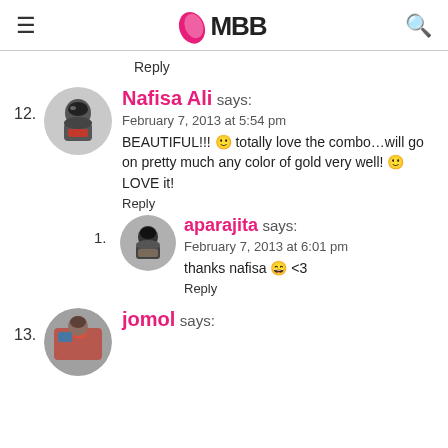IMBB
Reply
12. Nafisa Ali says:
February 7, 2013 at 5:54 pm
BEAUTIFUL!!! 🙂 totally love the combo…will go on pretty much any color of gold very well! 🙂 LOVE it!
Reply
1. aparajita says:
February 7, 2013 at 6:01 pm
thanks nafisa 😀 <3
Reply
13. jomol says: